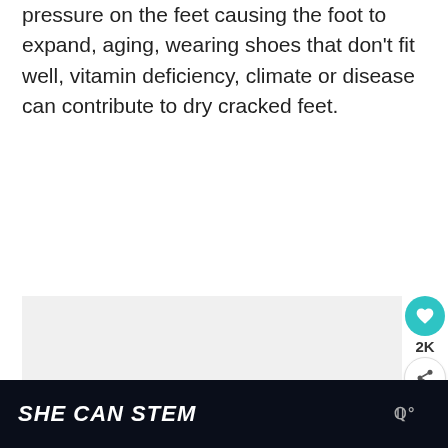pressure on the feet causing the foot to expand, aging, wearing shoes that don't fit well, vitamin deficiency, climate or disease can contribute to dry cracked feet.
[Figure (photo): Image placeholder area with social interaction buttons (heart/like button showing 2K likes, share button) and a slideshow indicator with three dots. A 'What's Next' panel shows a thumbnail of honey with text 'Natural Home Remedies'.]
SHE CAN STEM